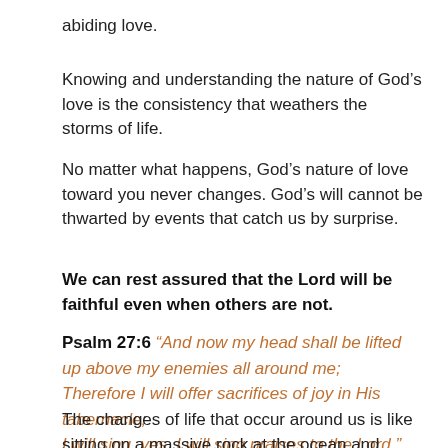abiding love.
Knowing and understanding the nature of God’s love is the consistency that weathers the storms of life.
No matter what happens, God’s nature of love toward you never changes. God’s will cannot be thwarted by events that catch us by surprise.
We can rest assured that the Lord will be faithful even when others are not.
Psalm 27:6 “And now my head shall be lifted up above my enemies all around me; Therefore I will offer sacrifices of joy in His tabernacle; I will sing, yes, I will sing praises to the Lord.”
The changes of life that occur around us is like sitting on a massive rock at the ocean and watching the storm around